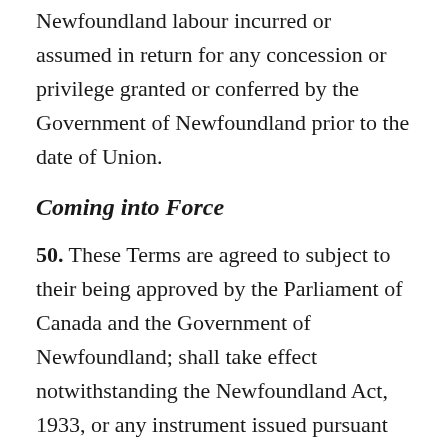Newfoundland labour incurred or assumed in return for any concession or privilege granted or conferred by the Government of Newfoundland prior to the date of Union.
Coming into Force
50. These Terms are agreed to subject to their being approved by the Parliament of Canada and the Government of Newfoundland; shall take effect notwithstanding the Newfoundland Act, 1933, or any instrument issued pursuant thereto; and shall come into force immediately before the expiration of the thirty-first day of March 1949, if His Majesty...